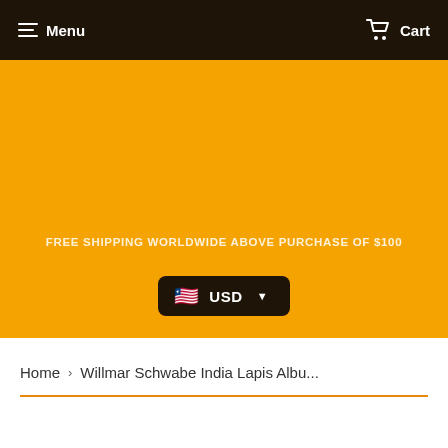Menu  Cart
FREE SHIPPING WORLDWIDE ABOVE PURCHASE OF $100
USD
Home › Willmar Schwabe India Lapis Albu...